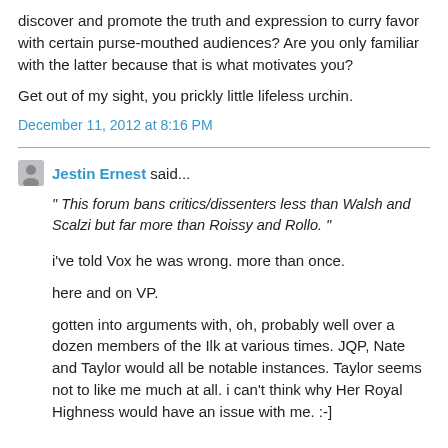discover and promote the truth and expression to curry favor with certain purse-mouthed audiences? Are you only familiar with the latter because that is what motivates you?
Get out of my sight, you prickly little lifeless urchin.
December 11, 2012 at 8:16 PM
Jestin Ernest said...
" This forum bans critics/dissenters less than Walsh and Scalzi but far more than Roissy and Rollo. "
i've told Vox he was wrong. more than once.
here and on VP.
gotten into arguments with, oh, probably well over a dozen members of the Ilk at various times. JQP, Nate and Taylor would all be notable instances. Taylor seems not to like me much at all. i can't think why Her Royal Highness would have an issue with me. :-]